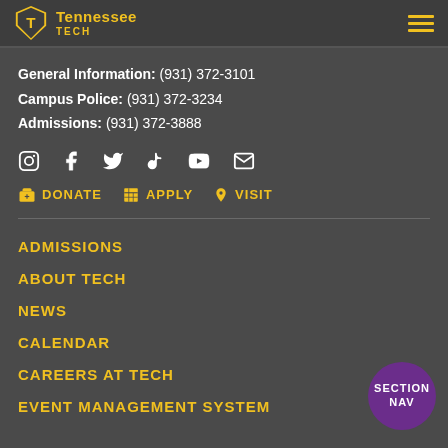Tennessee Tech
General Information: (931) 372-3101
Campus Police: (931) 372-3234
Admissions: (931) 372-3888
[Figure (illustration): Social media icons row: Instagram, Facebook, Twitter, TikTok, YouTube, Email]
DONATE  APPLY  VISIT
ADMISSIONS
ABOUT TECH
NEWS
CALENDAR
CAREERS AT TECH
EVENT MANAGEMENT SYSTEM